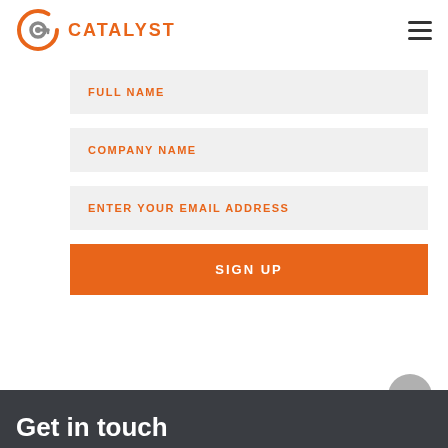[Figure (logo): Catalyst logo: orange circular arrow icon with a key/circle in the middle, and the word CATALYST in orange bold uppercase letters]
FULL NAME
COMPANY NAME
ENTER YOUR EMAIL ADDRESS
SIGN UP
Get in touch